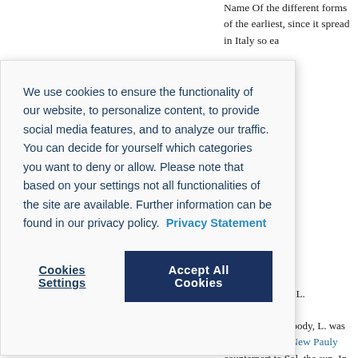Name Of the different forms of the earliest, since it spread in Italy so ea
[Figure (screenshot): Cookie consent modal dialog with text about cookies and two buttons: 'Cookies Settings' and 'Accept All Cookies']
Gordon, Richard L. (Ilmmunster) [well as celestial body, L. was conside counterpart to Sol, the sun. In Rom the Latin lucēre, 'to shine' (Varro, Li etymology from the feminine form louqsna (connected to Lucina, cf. l Gordon, Richard L. (Ilmmünster) [ temple The Roman antiquarians be
Source: Brill's New Pauly